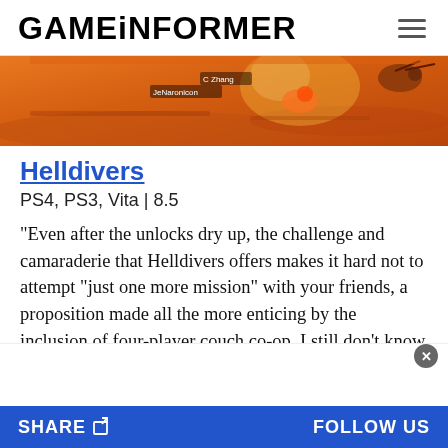GAMEINFORMER
[Figure (screenshot): Screenshot from Helldivers game showing top-down action in an orange/fiery environment with player name tags 'C Zhang' and 'JeNaronicon' visible]
Helldivers
PS4, PS3, Vita | 8.5
"Even after the unlocks dry up, the challenge and camaraderie that Helldivers offers makes it hard not to attempt "just one more mission" with your friends, a proposition made all the more enticing by the inclusion of four-player couch co-op. I still don't know how the
SHARE  FOLLOW US